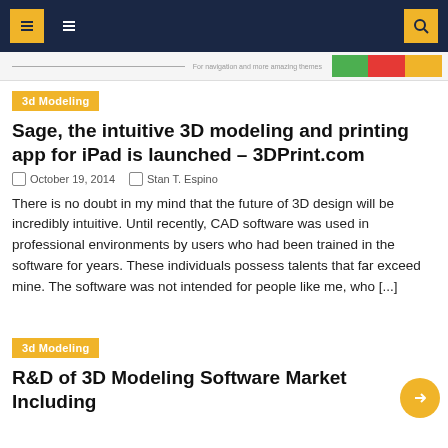Navigation header with menu icons and search
3d Modeling
Sage, the intuitive 3D modeling and printing app for iPad is launched – 3DPrint.com
October 19, 2014   Stan T. Espino
There is no doubt in my mind that the future of 3D design will be incredibly intuitive. Until recently, CAD software was used in professional environments by users who had been trained in the software for years. These individuals possess talents that far exceed mine. The software was not intended for people like me, who [...]
3d Modeling
R&D of 3D Modeling Software Market Including